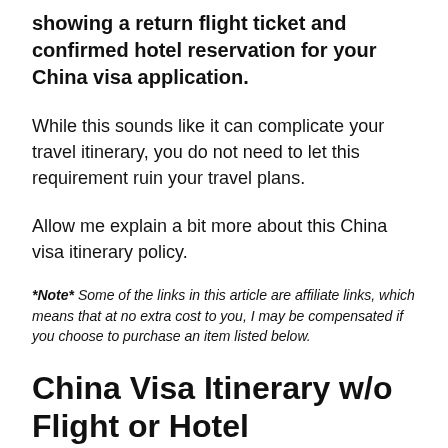showing a return flight ticket and confirmed hotel reservation for your China visa application.
While this sounds like it can complicate your travel itinerary, you do not need to let this requirement ruin your travel plans.
Allow me explain a bit more about this China visa itinerary policy.
*Note* Some of the links in this article are affiliate links, which means that at no extra cost to you, I may be compensated if you choose to purchase an item listed below.
China Visa Itinerary w/o Flight or Hotel Reservations